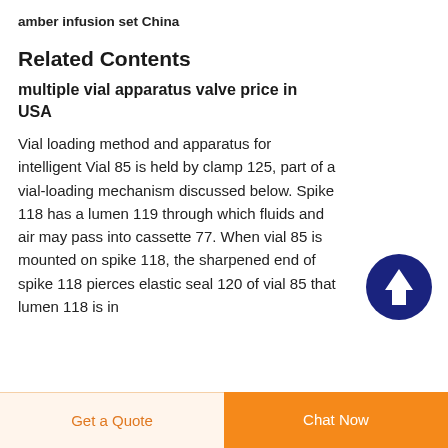amber infusion set China
Related Contents
multiple vial apparatus valve price in USA
Vial loading method and apparatus for intelligent Vial 85 is held by clamp 125, part of a vial-loading mechanism discussed below. Spike 118 has a lumen 119 through which fluids and air may pass into cassette 77. When vial 85 is mounted on spike 118, the sharpened end of spike 118 pierces elastic seal 120 of vial 85 that lumen 118 is in...
[Figure (illustration): Dark navy blue circle with white upward arrow (scroll-to-top button)]
Get a Quote  |  Chat Now